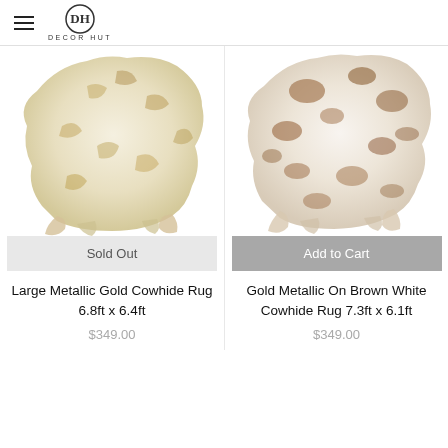DECOR HUT
[Figure (photo): Large metallic gold cowhide rug shown from above against white background]
[Figure (photo): Gold metallic on brown white cowhide rug shown from above against white background]
Sold Out
Add to Cart
Large Metallic Gold Cowhide Rug 6.8ft x 6.4ft
Gold Metallic On Brown White Cowhide Rug 7.3ft x 6.1ft
$349.00
$349.00